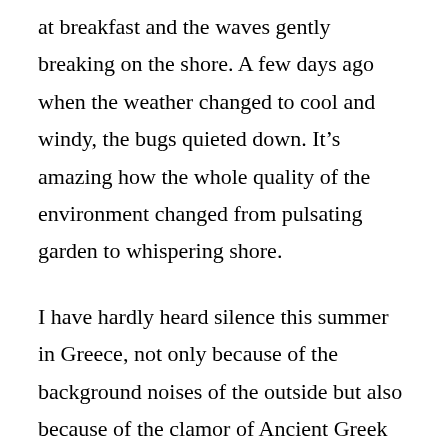at breakfast and the waves gently breaking on the shore. A few days ago when the weather changed to cool and windy, the bugs quieted down. It’s amazing how the whole quality of the environment changed from pulsating garden to whispering shore.
I have hardly heard silence this summer in Greece, not only because of the background noises of the outside but also because of the clamor of Ancient Greek Theater. Simon Goldhill says in his book, How to Stage Greek Tragedy Today, that Greek Tragedy is particularly wordy (and to be clear, he doesn’t mean that in a bad way). By the time I read